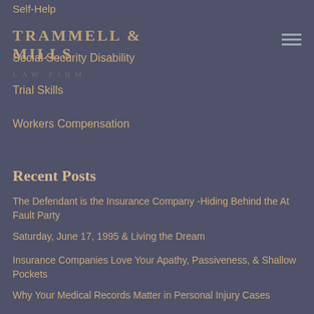Self-Help
TRAMMELL & MILLS
Social Security Disability
Trial Skills
Workers Compensation
Recent Posts
The Defendant is the Insurance Company -Hiding Behind the At Fault Party
Saturday, June 17, 1995 & Living the Dream
Insurance Companies Love Your Apathy, Passiveness, & Shallow Pockets
Why Your Medical Records Matter in Personal Injury Cases
They Say Imitation... We See You Looking Carolina Law